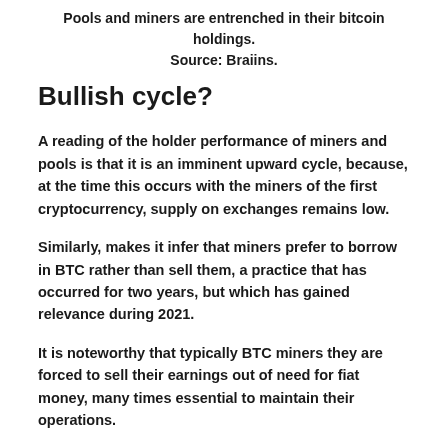Pools and miners are entrenched in their bitcoin holdings. Source: Braiins.
Bullish cycle?
A reading of the holder performance of miners and pools is that it is an imminent upward cycle, because, at the time this occurs with the miners of the first cryptocurrency, supply on exchanges remains low.
Similarly, makes it infer that miners prefer to borrow in BTC rather than sell them, a practice that has occurred for two years, but which has gained relevance during 2021.
It is noteworthy that typically BTC miners they are forced to sell their earnings out of need for fiat money, many times essential to maintain their operations.